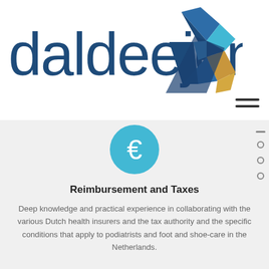[Figure (logo): Daldeejen company logo with text 'daldeejen' in dark blue and a geometric diamond/pyramid shape in blue and gold colors]
[Figure (illustration): Hamburger menu icon (three horizontal lines) in dark gray]
[Figure (illustration): Cyan/turquoise circle with a white Euro sign (€) in the center]
Reimbursement and Taxes
Deep knowledge and practical experience in collaborating with the various Dutch health insurers and the tax authority and the specific conditions that apply to podiatrists and foot and shoe-care in the Netherlands.